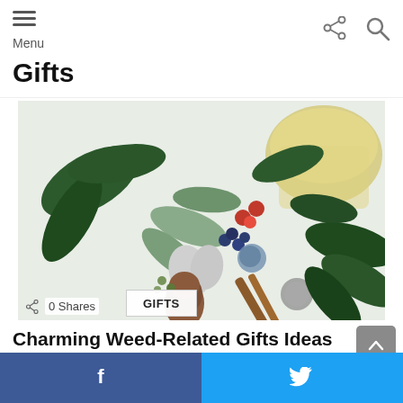Menu
Gifts
[Figure (photo): Flat lay of cannabis leaves, herbs, berries, pine cone, dried botanicals, and a glass jar with yellow liquid on white background]
0 Shares
GIFTS
Charming Weed-Related Gifts Ideas That Everyone Can Enjoy
f  [Facebook share button]  [Twitter share button]